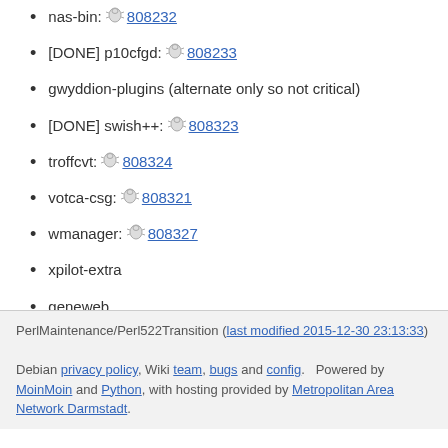nas-bin: 808232
[DONE] p10cfgd: 808233
gwyddion-plugins (alternate only so not critical)
[DONE] swish++: 808323
troffcvt: 808324
votca-csg: 808321
wmanager: 808327
xpilot-extra
geneweb
ippl
PerlMaintenance/Perl522Transition (last modified 2015-12-30 23:13:33)
Debian privacy policy, Wiki team, bugs and config. Powered by MoinMoin and Python, with hosting provided by Metropolitan Area Network Darmstadt.